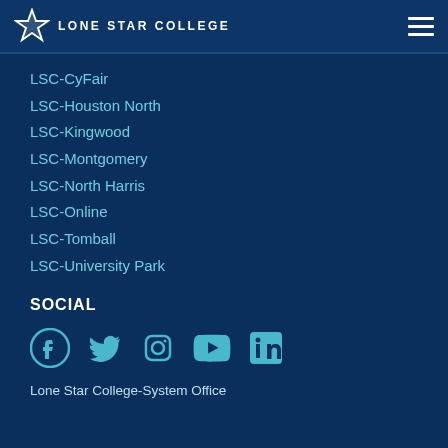Lone Star College
LSC-CyFair
LSC-Houston North
LSC-Kingwood
LSC-Montgomery
LSC-North Harris
LSC-Online
LSC-Tomball
LSC-University Park
SOCIAL
[Figure (illustration): Social media icons: Facebook, Twitter, Instagram, YouTube, LinkedIn]
Lone Star College-System Office